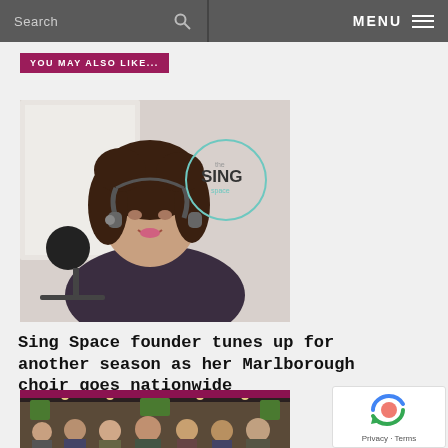Search  MENU
YOU MAY ALSO LIKE...
[Figure (photo): Woman with curly hair wearing headphones around her neck, sitting near a microphone. The Sing Space logo visible in background.]
Sing Space founder tunes up for another season as her Marlborough choir goes nationwide
[Figure (photo): Group photo of people in a room with greenery decorations on the walls and ceiling lights.]
Privacy · Terms